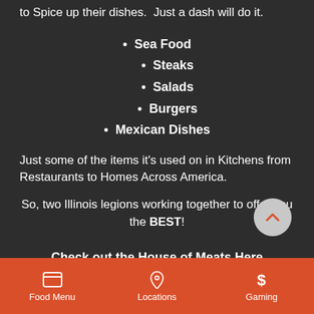to Spice up their dishes.  Just a dash will do it.
Sea Food
Steaks
Salads
Burgers
Mexican Dishes
Just some of the items it's used on in Kitchens from Restaurants to Homes Across America.
So, two Illinois legions working together to offer you the BEST!
Check out the House of Meats Here
Food Menu  Locations  Gaming